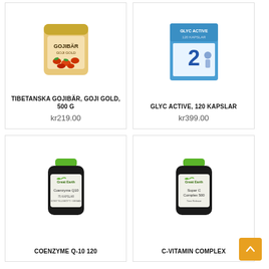[Figure (photo): Product photo of Tibetanska Gojibär, Goji Gold 500g bag with berries]
TIBETANSKA GOJIBÄR, GOJI GOLD, 500 G
kr219.00
[Figure (photo): Product photo of Glyc Active 120 Kapslar box, blue and white, joint supplement]
GLYC ACTIVE, 120 KAPSLAR
kr399.00
[Figure (photo): Product photo of Great Earth Coenzyme Q10 supplement bottle, dark bottle with green lid]
COENZYME Q-10 120
[Figure (photo): Product photo of Great Earth Super C Complex 500 supplement bottle, dark bottle with green lid]
C-VITAMIN COMPLEX